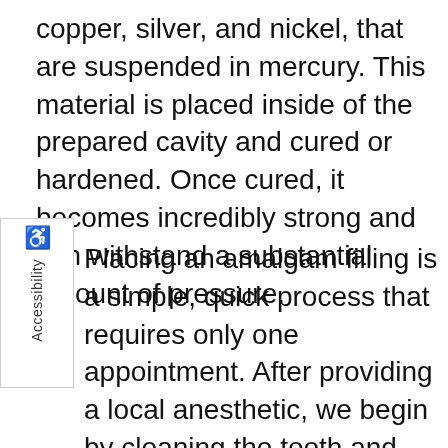copper, silver, and nickel, that are suspended in mercury. This material is placed inside of the prepared cavity and cured or hardened. Once cured, it becomes incredibly strong and can withstand a substantial amount of pressure.
Placing an amalgam filling is a simple, quick process that requires only one appointment. After providing a local anesthetic, we begin by cleaning the tooth and drilling the decay out of the cavity. Once the cavity has been prepared, the amalgam material is placed inside the cavity and smoothed before being cured. Once